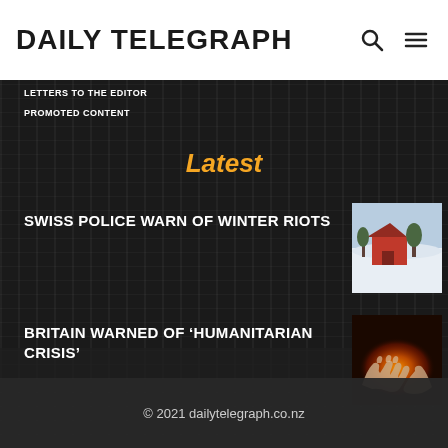DAILY TELEGRAPH
LETTERS TO THE EDITOR
PROMOTED CONTENT
Latest
SWISS POLICE WARN OF WINTER RIOTS
[Figure (photo): Aerial view of a red barn in a snowy field with trees]
BRITAIN WARNED OF ‘HUMANITARIAN CRISIS’
[Figure (photo): Hands outstretched near a fire or warm glow in darkness]
© 2021 dailytelegraph.co.nz